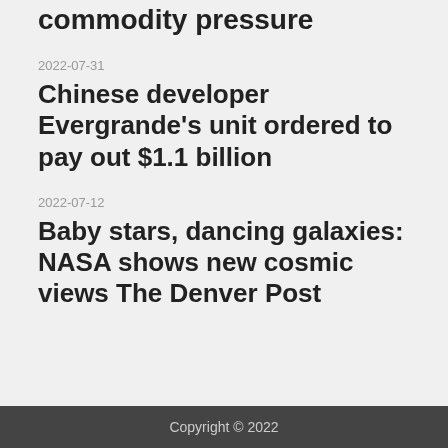commodity pressure
2022-07-31
Chinese developer Evergrande's unit ordered to pay out $1.1 billion
2022-07-12
Baby stars, dancing galaxies: NASA shows new cosmic views The Denver Post
Copyright © 2022